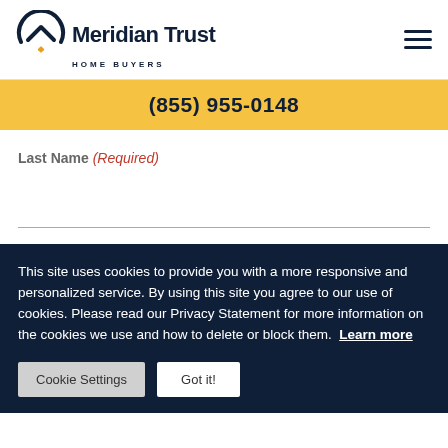[Figure (logo): Meridian Trust Home Buyers logo with house/arch icon on left and company name text]
(855) 955-0148
Last Name (Required)
This site uses cookies to provide you with a more responsive and personalized service. By using this site you agree to our use of cookies. Please read our Privacy Statement for more information on the cookies we use and how to delete or block them. Learn more
Cookie Settings
Got it!